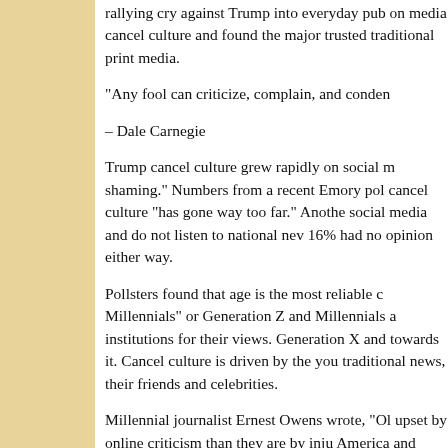rallying cry against Trump into everyday pub on media cancel culture and found the major trusted traditional print media.
“Any fool can criticize, complain, and conden
– Dale Carnegie
Trump cancel culture grew rapidly on social m shaming.” Numbers from a recent Emory pol cancel culture “has gone way too far.” Anothe social media and do not listen to national new 16% had no opinion either way.
Pollsters found that age is the most reliable c Millennials” or Generation Z and Millennials a institutions for their views. Generation X and towards it. Cancel culture is driven by the you traditional news, their friends and celebrities.
Millennial journalist Ernest Owens wrote, “Ol upset by online criticism than they are by inju America and white conservatives promote r